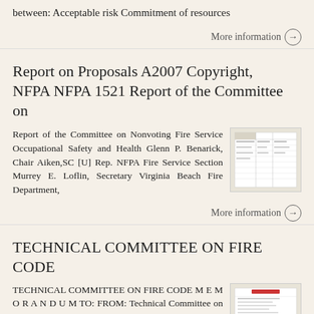between: Acceptable risk Commitment of resources
More information →
Report on Proposals A2007 Copyright, NFPA NFPA 1521 Report of the Committee on
Report of the Committee on Nonvoting Fire Service Occupational Safety and Health Glenn P. Benarick, Chair Aiken,SC [U] Rep. NFPA Fire Service Section Murrey E. Loflin, Secretary Virginia Beach Fire Department,
[Figure (table-as-image): Thumbnail image of a document table]
More information →
TECHNICAL COMMITTEE ON FIRE CODE
TECHNICAL COMMITTEE ON FIRE CODE MEMORANDUM TO: FROM: Technical Committee on Fire Code (FCC-AAA) Gregory
[Figure (table-as-image): Thumbnail image of a document page]